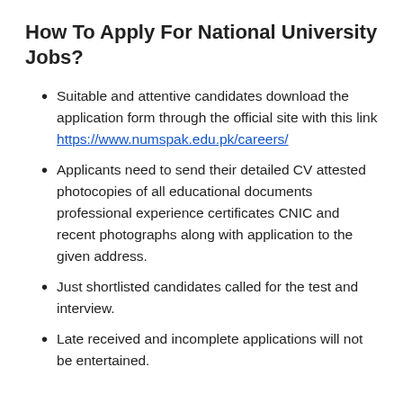How To Apply For National University Jobs?
Suitable and attentive candidates download the application form through the official site with this link https://www.numspak.edu.pk/careers/
Applicants need to send their detailed CV attested photocopies of all educational documents professional experience certificates CNIC and recent photographs along with application to the given address.
Just shortlisted candidates called for the test and interview.
Late received and incomplete applications will not be entertained.